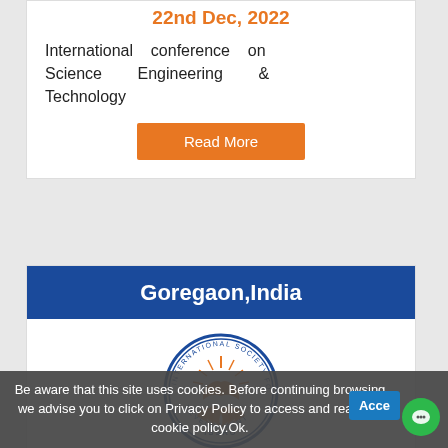22nd Dec, 2022
International conference on Science Engineering & Technology
Read More
Goregaon,India
[Figure (logo): Circular emblem of ISSRO - International Society for Scientific Research and Development, featuring an open book with rays and laurel wreath]
22nd Dec, 2022
International Conference on
Be aware that this site uses cookies. Before continuing browsing we advise you to click on Privacy Policy to access and read our cookie policy.Ok.